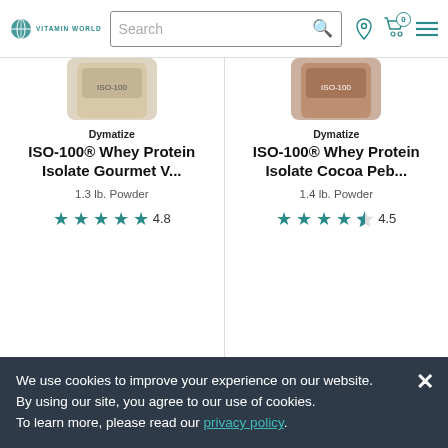Vitamin World — Search bar, location, cart, menu
[Figure (screenshot): Partial top of product image for Dymatize ISO-100 Gourmet V...]
Dymatize
ISO-100® Whey Protein Isolate Gourmet V...
1.3 lb. Powder
★★★★★ 4.8
$43.99
Add to Cart
[Figure (screenshot): Partial top of product image for Dymatize ISO-100 Cocoa Peb...]
Dymatize
ISO-100® Whey Protein Isolate Cocoa Peb...
1.4 lb. Powder
★★★★★ 4.5
$43.99
Add to Cart
We use cookies to improve your experience on our website. By using our site, you agree to our use of cookies. To learn more, please read our privacy policy.